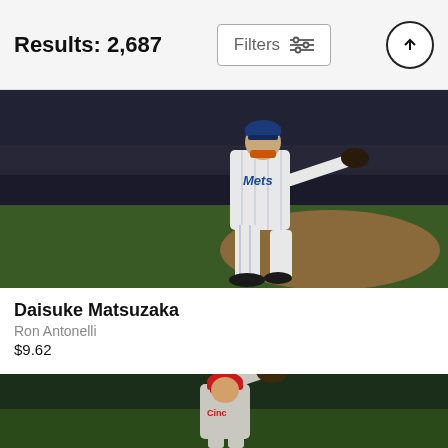Results: 2,687
[Figure (photo): Baseball pitcher Daisuke Matsuzaka in a New York Mets pinstripe uniform in pitching motion on the mound at night, with crowd in background]
Daisuke Matsuzaka
Ron Antonelli
$9.62
[Figure (photo): Baseball outfielder in Cincinnati Reds gray uniform making a catch, reaching up with glove, green wall in background]